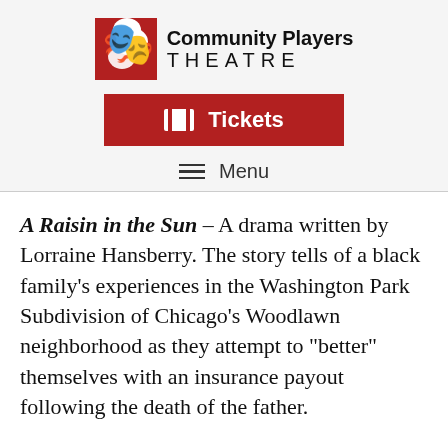Community Players THEATRE
Tickets
Menu
A Raisin in the Sun – A drama written by Lorraine Hansberry. The story tells of a black family's experiences in the Washington Park Subdivision of Chicago's Woodlawn neighborhood as they attempt to "better" themselves with an insurance payout following the death of the father.
Who's Afraid of Virginia Woolf? – A drama written by Edward Albee. It examines the complexities of the marriage of a middle-aged